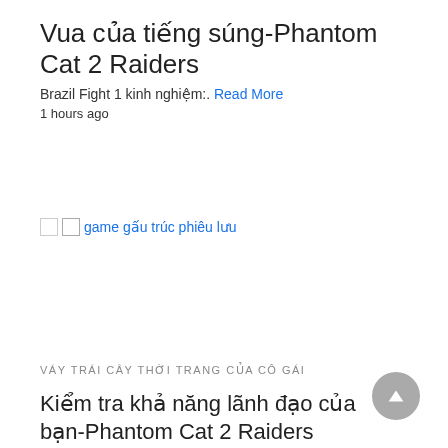Vua của tiếng súng-Phantom Cat 2 Raiders
Brazil Fight 1 kinh nghiệm:. Read More
1 hours ago
[Figure (photo): Broken image placeholder labeled 'game gấu trúc phiêu lưu']
game gấu trúc phiêu lưu
VÁY TRÁI CÂY THỜI TRANG CỦA CÔ GÁI
Kiểm tra khả năng lãnh đạo của bạn-Phantom Cat 2 Raiders
Ưu điểm của việc lưu trữ Daerman Game 1. Bạn có thể sử dụng